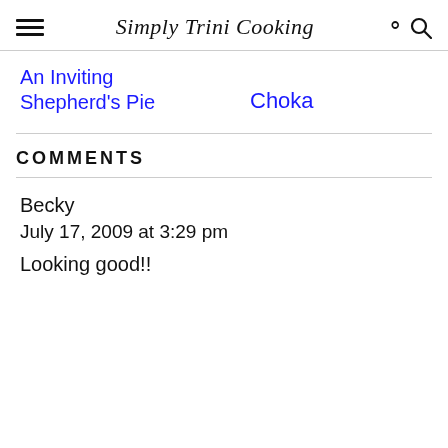Simply Trini Cooking
An Inviting Shepherd's Pie
Choka
COMMENTS
Becky
July 17, 2009 at 3:29 pm
Looking good!!